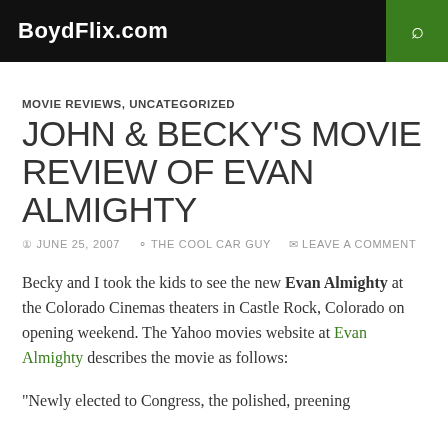BoydFlix.com
MOVIE REVIEWS, UNCATEGORIZED
JOHN & BECKY'S MOVIE REVIEW OF EVAN ALMIGHTY
JUNE 25, 2007  THE COOL CAR GUY  LEAVE A COMMENT
Becky and I took the kids to see the new Evan Almighty at the Colorado Cinemas theaters in Castle Rock, Colorado on opening weekend. The Yahoo movies website at Evan Almighty describes the movie as follows:
“Newly elected to Congress, the polished, preening